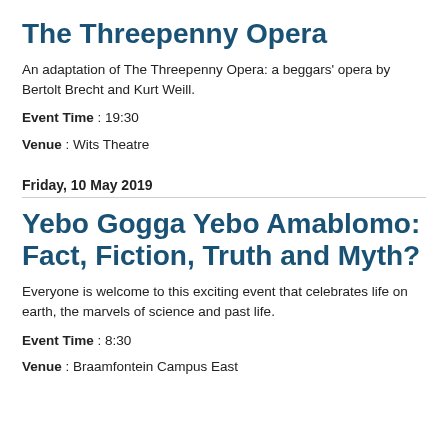The Threepenny Opera
An adaptation of The Threepenny Opera: a beggars' opera by Bertolt Brecht and Kurt Weill.
Event Time : 19:30
Venue : Wits Theatre
Friday, 10 May 2019
Yebo Gogga Yebo Amablomo: Fact, Fiction, Truth and Myth?
Everyone is welcome to this exciting event that celebrates life on earth, the marvels of science and past life.
Event Time : 8:30
Venue : Braamfontein Campus East